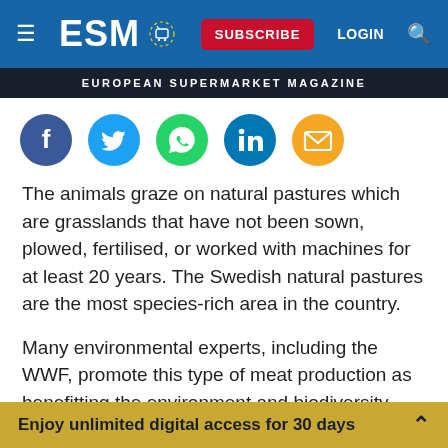ESM — European Supermarket Magazine — SUBSCRIBE LOGIN
[Figure (infographic): Social share icons: Facebook (dark blue), Twitter (light blue), WhatsApp (green), LinkedIn (dark blue), Email (orange)]
The animals graze on natural pastures which are grasslands that have not been sown, plowed, fertilised, or worked with machines for at least 20 years. The Swedish natural pastures are the most species-rich area in the country.
Many environmental experts, including the WWF, promote this type of meat production as benefitting the environment and biodiversity.
Enjoy unlimited digital access for 30 days